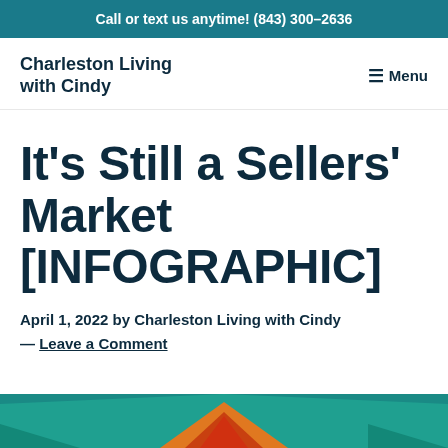Call or text us anytime! (843) 300-2636
Charleston Living with Cindy
It's Still a Sellers' Market [INFOGRAPHIC]
April 1, 2022 by Charleston Living with Cindy — Leave a Comment
[Figure (infographic): Partial infographic preview showing teal, orange, and dark red triangular/mountain shapes at the bottom of the page]